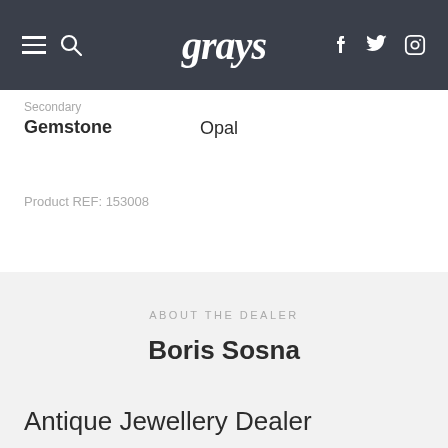grays
Secondary Gemstone
Opal
Product REF: 153008
ABOUT THE DEALER
Boris Sosna
Antique Jewellery Dealer